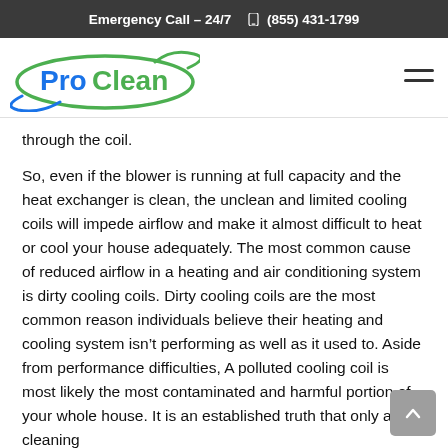Emergency Call – 24/7  (855) 431-1799
[Figure (logo): ProClean company logo with blue and green oval swoosh design]
through the coil.
So, even if the blower is running at full capacity and the heat exchanger is clean, the unclean and limited cooling coils will impede airflow and make it almost difficult to heat or cool your house adequately. The most common cause of reduced airflow in a heating and air conditioning system is dirty cooling coils. Dirty cooling coils are the most common reason individuals believe their heating and cooling system isn't performing as well as it used to. Aside from performance difficulties, A polluted cooling coil is most likely the most contaminated and harmful portion of your whole house. It is an established truth that only a wet cleaning